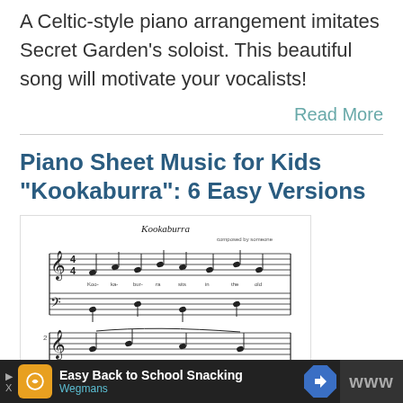A Celtic-style piano arrangement imitates Secret Garden's soloist. This beautiful song will motivate your vocalists!
Read More
Piano Sheet Music for Kids "Kookaburra": 6 Easy Versions
[Figure (illustration): Sheet music for 'Kookaburra' showing multiple staves with musical notation, treble and bass clef, time signature 4/4, and lyrics beneath notes.]
Easy Back to School Snacking Wegmans